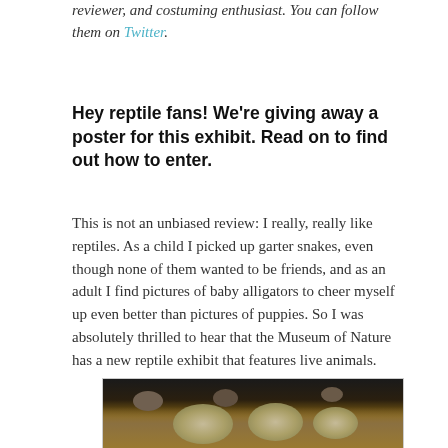reviewer, and costuming enthusiast. You can follow them on Twitter.
Hey reptile fans! We're giving away a poster for this exhibit. Read on to find out how to enter.
This is not an unbiased review: I really, really like reptiles. As a child I picked up garter snakes, even though none of them wanted to be friends, and as an adult I find pictures of baby alligators to cheer myself up even better than pictures of puppies. So I was absolutely thrilled to hear that the Museum of Nature has a new reptile exhibit that features live animals.
[Figure (photo): Photo of tortoise shells or eggs on sandy ground in a dark exhibit enclosure, with rocks visible]